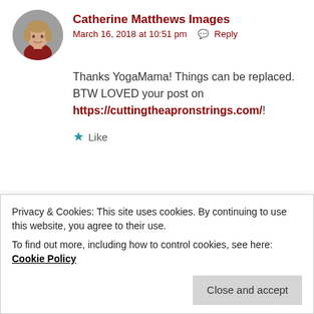[Figure (photo): Circular avatar photo of a woman with short blonde hair wearing a dark red top]
Catherine Matthews Images
March 16, 2018 at 10:51 pm  Reply
Thanks YogaMama! Things can be replaced. BTW LOVED your post on https://cuttingtheapronstrings.com/ !
Like
[Figure (illustration): Circular avatar with geometric diamond/arrow pattern in olive/gold colors for user Shelley]
Shelley
Privacy & Cookies: This site uses cookies. By continuing to use this website, you agree to their use.
To find out more, including how to control cookies, see here: Cookie Policy
Close and accept